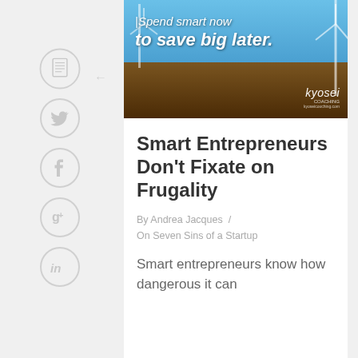[Figure (photo): Motivational image with wind turbines and desert road under blue sky, text overlay reading 'Spend smart now to save big later.' with kyosei coaching branding]
Smart Entrepreneurs Don't Fixate on Frugality
By Andrea Jacques / On Seven Sins of a Startup
Smart entrepreneurs know how dangerous it can